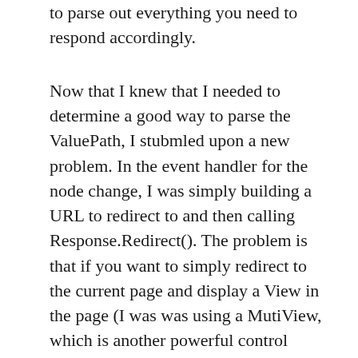to parse out everything you need to respond accordingly.
Now that I knew that I needed to determine a good way to parse the ValuePath, I stubmled upon a new problem. In the event handler for the node change, I was simply building a URL to redirect to and then calling Response.Redirect(). The problem is that if you want to simply redirect to the current page and display a View in the page (I was was using a MutiView, which is another powerful control available in ASP .NET 2.0) based on parameters you've passed in the URL, you're going to have problems with the TreeView not retaining its display. The TreeView is expecting that you will